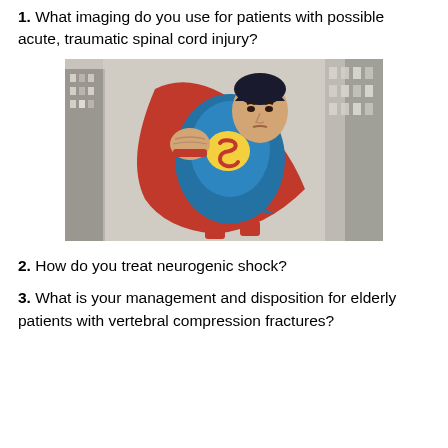1. What imaging do you use for patients with possible acute, traumatic spinal cord injury?
[Figure (photo): Photo of Superman (Christopher Reeve) in costume, flying with fist extended forward, against a cityscape background.]
2. How do you treat neurogenic shock?
3. What is your management and disposition for elderly patients with vertebral compression fractures?